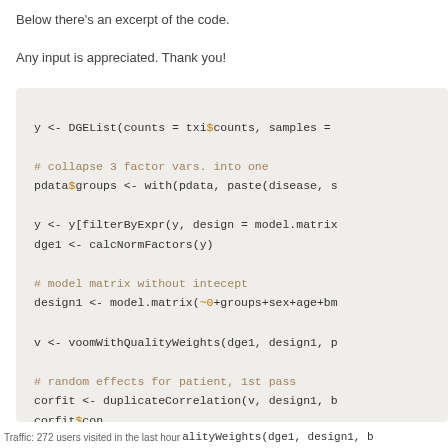Below there's an excerpt of the code.
Any input is appreciated. Thank you!
[Figure (screenshot): Code block showing R code snippet with DGEList, filterByExpr, calcNormFactors, model.matrix, voomWithQualityWeights, and duplicateCorrelation calls]
Traffic: 272 users visited in the last hour   alityWeights(dge1, design1, b